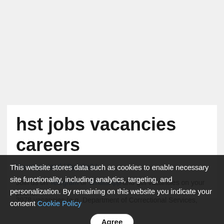hst jobs vacancies careers
Uncategorized / By jobs24
Join us on Telegram or WhatsApp and get vacancies on your phone.
This website stores data such as cookies to enable necessary site functionality, including analytics, targeting, and personalization. By remaining on this website you indicate your consent Cookie Policy
3978 vacancies (e.g. Department of Correctional Services,